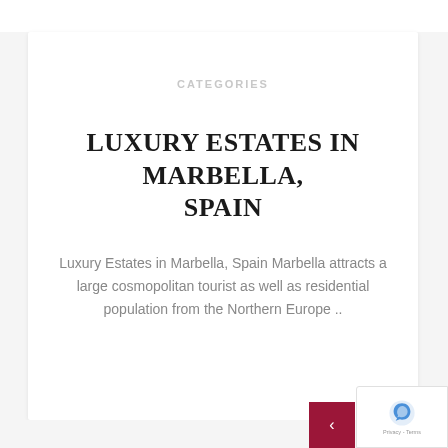CATEGORIES
LUXURY ESTATES IN MARBELLA, SPAIN
Luxury Estates in Marbella, Spain Marbella attracts a large cosmopolitan tourist as well as residential population from the Northern Europe ..